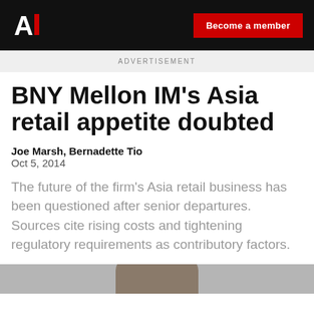AI | Become a member
ADVERTISEMENT
BNY Mellon IM's Asia retail appetite doubted
Joe Marsh, Bernadette Tio
Oct 5, 2014
The future of the firm's Asia retail business has been questioned after senior departures. Sources cite rising costs and tightening regulatory requirements as contributory factors.
[Figure (photo): Partial photo of a person, cropped at top of head]